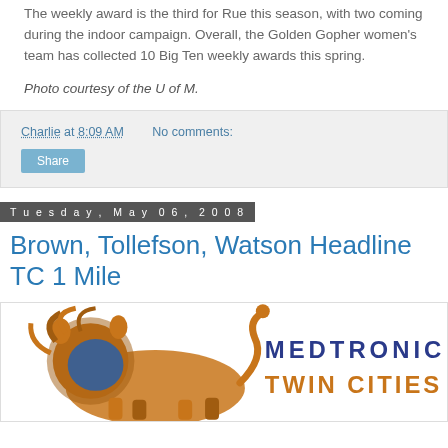The weekly award is the third for Rue this season, with two coming during the indoor campaign. Overall, the Golden Gopher women's team has collected 10 Big Ten weekly awards this spring.
Photo courtesy of the U of M.
Charlie at 8:09 AM   No comments:
Tuesday, May 06, 2008
Brown, Tollefson, Watson Headline TC 1 Mile
[Figure (logo): Medtronic Twin Cities logo with lion illustration in orange and blue]